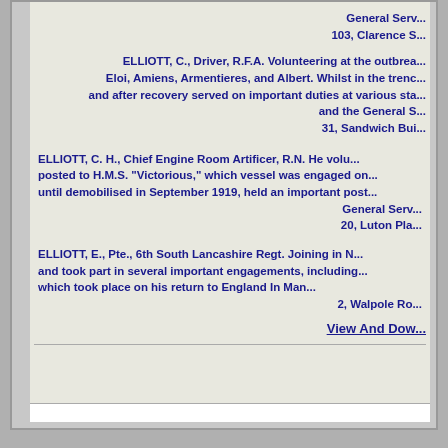General Serv... 103, Clarence S...
ELLIOTT, C., Driver, R.F.A. Volunteering at the outbreak... Eloi, Amiens, Armentieres, and Albert. Whilst in the trench... and after recovery served on important duties at various sta... and the General S... 31, Sandwich Bui...
ELLIOTT, C. H., Chief Engine Room Artificer, R.N. He volu... posted to H.M.S. "Victorious," which vessel was engaged on... until demobilised in September 1919, held an important pos... General Serv... 20, Luton Pla...
ELLIOTT, E., Pte., 6th South Lancashire Regt. Joining in N... and took part in several important engagements, including... which took place on his return to England In Man... 2, Walpole Ro...
View And Dow...